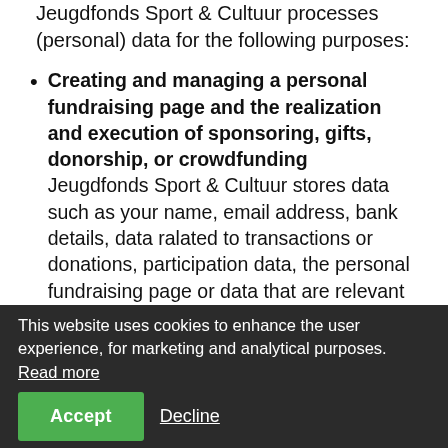Jeugdfonds Sport & Cultuur processes (personal) data for the following purposes:
Creating and managing a personal fundraising page and the realization and execution of sponsoring, gifts, donorship, or crowdfunding — Jeugdfonds Sport & Cultuur stores data such as your name, email address, bank details, data ralated to transactions or donations, participation data, the personal fundraising page or data that are relevant in case you and Jeugdfonds Sport & Cultuur enter into an agreement or you contribute financially to Jeugdfonds Sport & Cultuur's objectives as a sponsor, donor, collector, action starter, or participant to actions or events.
This website uses cookies to enhance the user experience, for marketing and analytical purposes. Read more
Notifications about activities
Jeugdfonds Sport & Cultuur shall keep sponsors, donors, beneficiaries, participants, volunteers, 'friends', and other interested parties informed about its activities by sending them emails, provided that you have given permission for this.